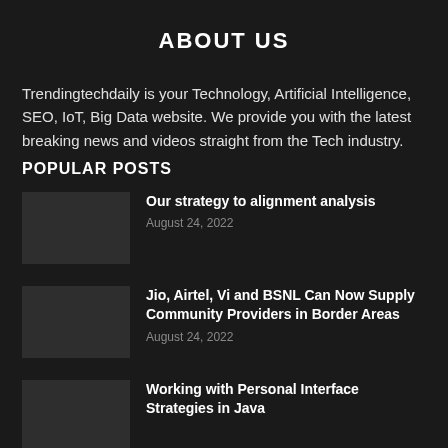ABOUT US
Trendingtechdaily is your Technology, Artificial Intelligence, SEO, IoT, Big Data website. We provide you with the latest breaking news and videos straight from the Tech industry.
POPULAR POSTS
Our strategy to alignment analysis — August 24, 2022
Jio, Airtel, Vi and BSNL Can Now Supply Community Providers in Border Areas — August 24, 2022
Working with Personal Interface Strategies in Java